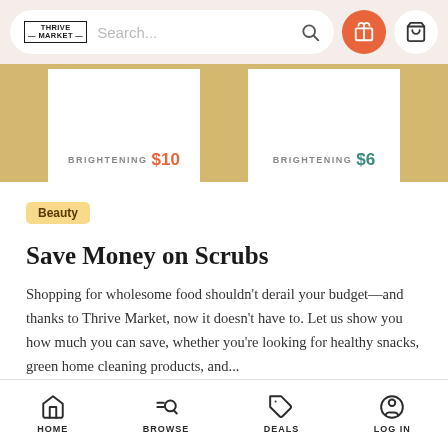Thrive Market — Search bar navigation with gift and cart icons
[Figure (screenshot): Two product cards showing BRIGHTENING category items priced at $10 and $6 with gold accent strips]
Beauty
Save Money on Scrubs
Shopping for wholesome food shouldn't derail your budget—and thanks to Thrive Market, now it doesn't have to. Let us show you how much you can save, whether you're looking for healthy snacks, green home cleaning products, and...
HOME  BROWSE  DEALS  LOG IN